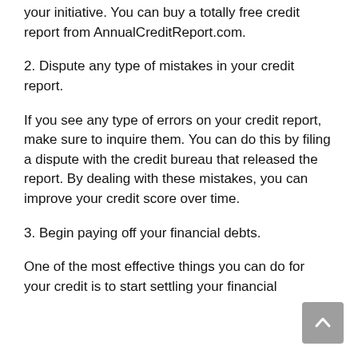your initiative. You can buy a totally free credit report from AnnualCreditReport.com.
2. Dispute any type of mistakes in your credit report.
If you see any type of errors on your credit report, make sure to inquire them. You can do this by filing a dispute with the credit bureau that released the report. By dealing with these mistakes, you can improve your credit score over time.
3. Begin paying off your financial debts.
One of the most effective things you can do for your credit is to start settling your financial...